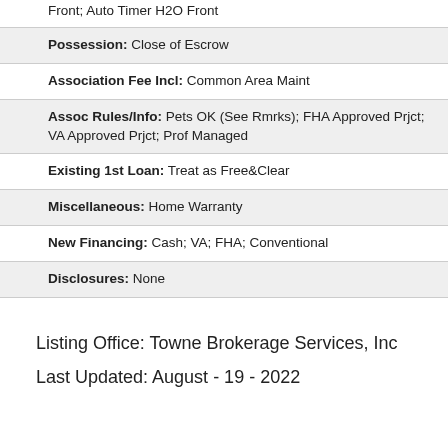Front; Auto Timer H2O Front
Possession: Close of Escrow
Association Fee Incl: Common Area Maint
Assoc Rules/Info: Pets OK (See Rmrks); FHA Approved Prjct; VA Approved Prjct; Prof Managed
Existing 1st Loan: Treat as Free&Clear
Miscellaneous: Home Warranty
New Financing: Cash; VA; FHA; Conventional
Disclosures: None
Listing Office: Towne Brokerage Services, Inc
Last Updated: August - 19 - 2022